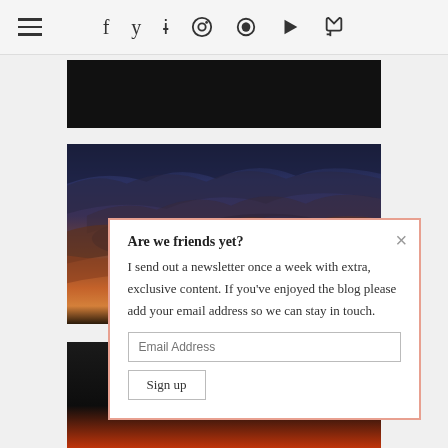≡  f  🐦  📷  🅿  ♥  ▶  ⊃
[Figure (photo): Black rectangular image placeholder at top]
[Figure (photo): Sunset/dusk sky photograph with dark clouds and warm orange horizon glow]
[Figure (photo): Dark image strip at bottom, dark landscape with red/orange horizon glow]
Are we friends yet?
I send out a newsletter once a week with extra, exclusive content. If you've enjoyed the blog please add your email address so we can stay in touch.
Email Address
Sign up